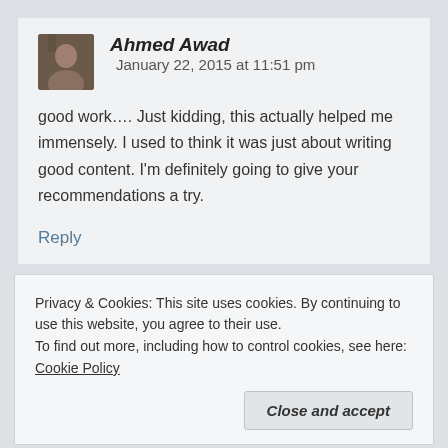Ahmed Awad   January 22, 2015 at 11:51 pm
good work…. Just kidding, this actually helped me immensely. I used to think it was just about writing good content. I'm definitely going to give your recommendations a try.
Reply
Privacy & Cookies: This site uses cookies. By continuing to use this website, you agree to their use.
To find out more, including how to control cookies, see here: Cookie Policy
Close and accept
Reply